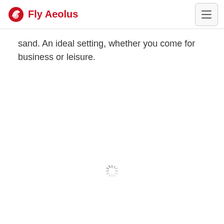Fly Aeolus
sand. An ideal setting, whether you come for business or leisure.
[Figure (other): Loading spinner (animated spinner icon indicating content is loading)]